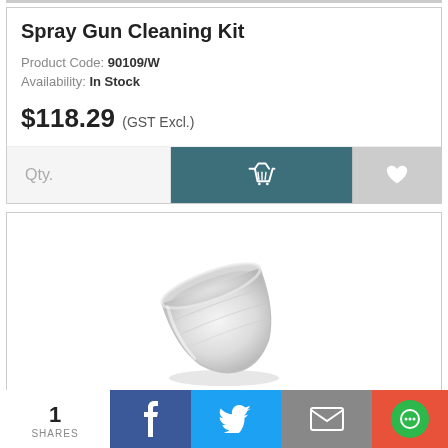Spray Gun Cleaning Kit
Product Code: 90109/W
Availability: In Stock
$118.29 (GST Excl.)
Qty.
[Figure (photo): Spray gun cleaning kit product photo — a translucent white/grey bowl-shaped cup with a filter insert]
1 SHARES
Facebook share button
Twitter share button
Email share button
Chat button